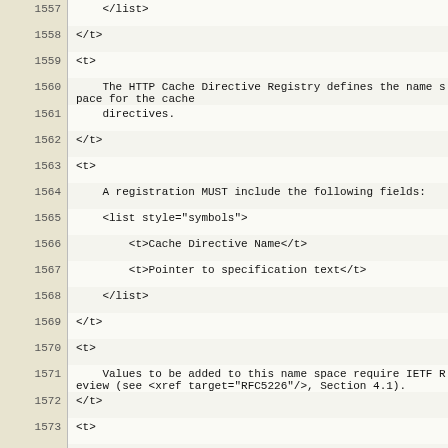Source code / XML markup with line numbers 1557-1584
| Line | Code |
| --- | --- |
| 1557 |     </list> |
| 1558 | </t> |
| 1559 | <t> |
| 1560 |     The HTTP Cache Directive Registry defines the name space for the cache |
| 1561 |     directives. |
| 1562 | </t> |
| 1563 | <t> |
| 1564 |     A registration MUST include the following fields: |
| 1565 |     <list style="symbols"> |
| 1566 |         <t>Cache Directive Name</t> |
| 1567 |         <t>Pointer to specification text</t> |
| 1568 |     </list> |
| 1569 | </t> |
| 1570 | <t> |
| 1571 |     Values to be added to this name space require IETF Review (see <xref target="RFC5226"/>, Section 4.1). |
| 1572 | </t> |
| 1573 | <t> |
| 1574 |     The registry itself is maintained at <eref target="http://www.iana.org/assignments/http-cache-directives"/>. |
| 1575 | </t> |
| 1576 | </section> |
| 1577 |  |
| 1578 | </section> |
| 1579 |  |
| 1580 | <section anchor="header.expires" title="Expires"> |
| 1581 |     <iref item="Expires header field" primary="true"/> |
| 1582 |     <iref item="Header Fields" primary="true" subitem="Expires"/> |
| 1583 |  |
| 1584 | <t> |